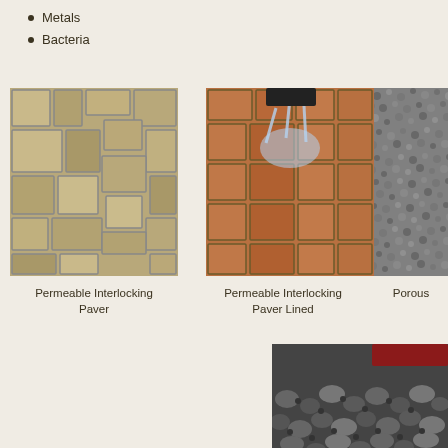Metals
Bacteria
[Figure (photo): Permeable interlocking paver stones, dry, viewed from above showing irregular stone pattern]
Permeable Interlocking Paver
[Figure (photo): Permeable interlocking paver lined with water splashing from tire]
Permeable Interlocking Paver Lined
[Figure (photo): Porous surface close-up showing gray gravel/aggregate texture]
Porous
[Figure (photo): Porous asphalt surface with larger rounded stones, partial view of red vehicle]
Porous A